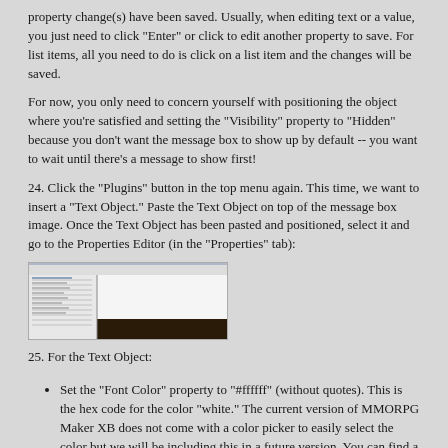property change(s) have been saved. Usually, when editing text or a value, you just need to click "Enter" or click to edit another property to save. For list items, all you need to do is click on a list item and the changes will be saved.
For now, you only need to concern yourself with positioning the object where you're satisfied and setting the "Visibility" property to "Hidden" because you don't want the message box to show up by default -- you want to wait until there's a message to show first!
24. Click the "Plugins" button in the top menu again. This time, we want to insert a "Text Object." Paste the Text Object on top of the message box image. Once the Text Object has been pasted and positioned, select it and go to the Properties Editor (in the "Properties" tab):
[Figure (screenshot): Screenshot of a Properties Editor panel showing a text object with a dark/black bar at the bottom]
25. For the Text Object:
Set the "Font Color" property to "#ffffff" (without quotes). This is the hex code for the color "white." The current version of MMORPG Maker XB does not come with a color picker to easily select the color but we will be including this in a future version. You can find a huge list of hex color codes at: http://www.december.com/html/spec/color.html
Change the "Text" property to blank so we don't have any default text.
Change the "Visibility" property to "Hidden."
26. Click the "Plugins" button in the top menu again. This time, insert the "Function